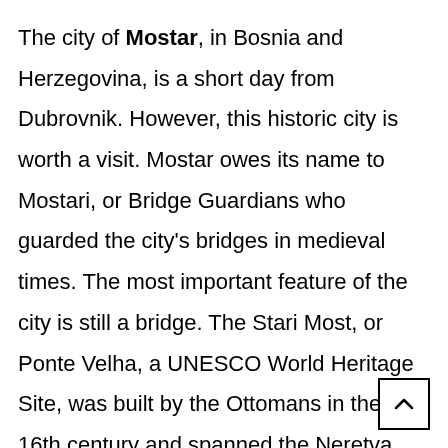The city of Mostar, in Bosnia and Herzegovina, is a short day from Dubrovnik. However, this historic city is worth a visit. Mostar owes its name to Mostari, or Bridge Guardians who guarded the city's bridges in medieval times. The most important feature of the city is still a bridge. The Stari Most, or Ponte Velha, a UNESCO World Heritage Site, was built by the Ottomans in the 16th century and spanned the Neretva River for 427 years. The famous bridge fell victim to war in 1993.